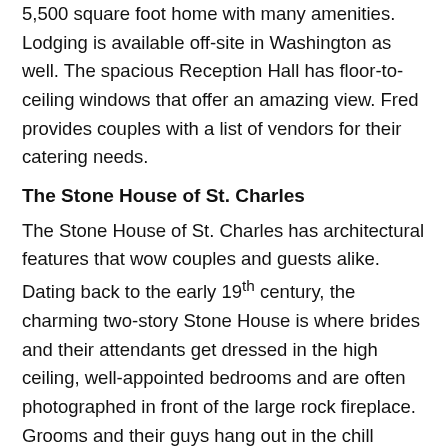5,500 square foot home with many amenities. Lodging is available off-site in Washington as well. The spacious Reception Hall has floor-to-ceiling windows that offer an amazing view. Fred provides couples with a list of vendors for their catering needs.
The Stone House of St. Charles
The Stone House of St. Charles has architectural features that wow couples and guests alike. Dating back to the early 19th century, the charming two-story Stone House is where brides and their attendants get dressed in the high ceiling, well-appointed bedrooms and are often photographed in front of the large rock fireplace. Grooms and their guys hang out in the chill Grooms Quarters and enjoy playing pool or relaxing in one of the many leather chairs or couches. Ceremonies are conducted in the truly awesome 21st century Sycamore Hall or outside under a pretty arbor